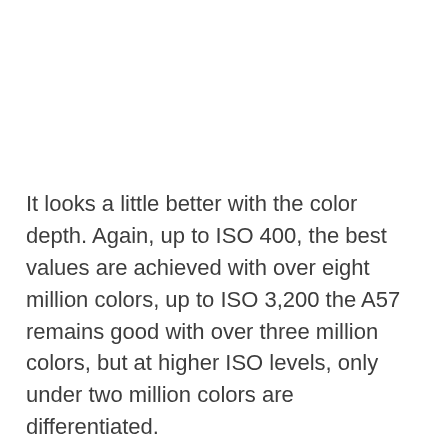It looks a little better with the color depth. Again, up to ISO 400, the best values are achieved with over eight million colors, up to ISO 3,200 the A57 remains good with over three million colors, but at higher ISO levels, only under two million colors are differentiated.